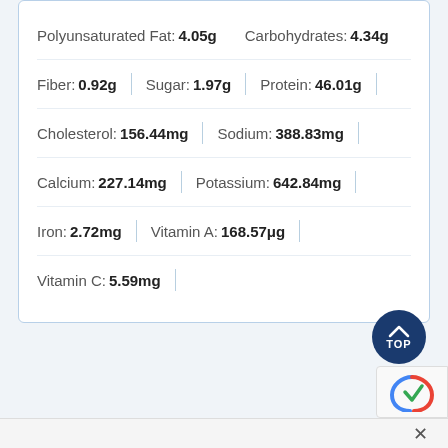Polyunsaturated Fat: 4.05g | Carbohydrates: 4.34g
Fiber: 0.92g | Sugar: 1.97g | Protein: 46.01g
Cholesterol: 156.44mg | Sodium: 388.83mg
Calcium: 227.14mg | Potassium: 642.84mg
Iron: 2.72mg | Vitamin A: 168.57μg
Vitamin C: 5.59mg
[Figure (logo): Dark blue circular TOP button with upward chevron arrow and TOP text]
[Figure (logo): reCAPTCHA logo partial, bottom right corner]
×